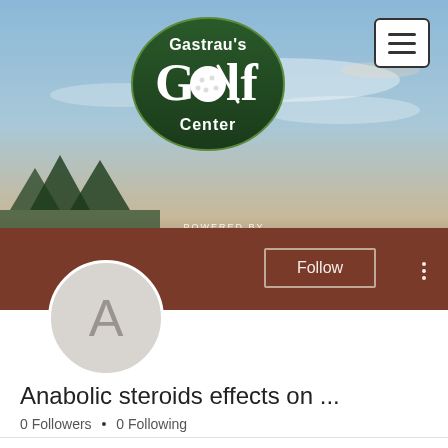[Figure (screenshot): Website banner for Gastrau's Golf Center featuring a golf course photo at dusk with sky, powered by Toptracer Range logo overlay, green oval golf logo at top, hamburger menu button top right, brown lower section with Follow button and three-dot menu, avatar circle with letter A]
Anabolic steroids effects on ...
0 Followers  •  0 Following